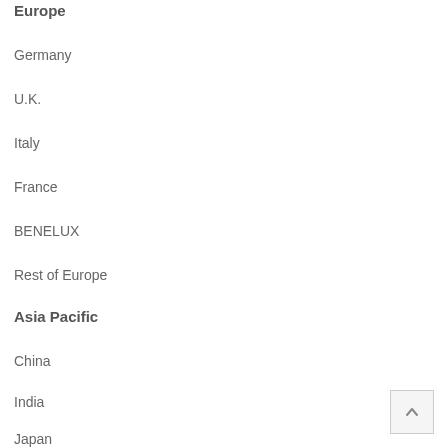Europe
Germany
U.K.
Italy
France
BENELUX
Rest of Europe
Asia Pacific
China
India
Japan